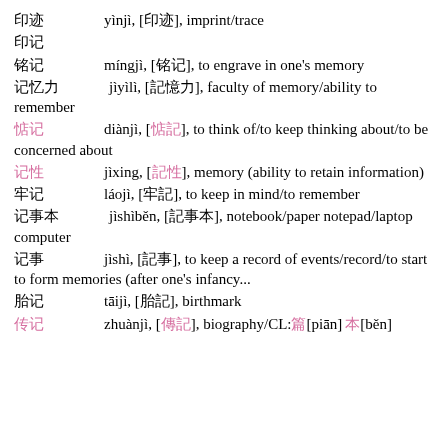印迹 yìnjì, [印迹], imprint/trace
印记
铭记 míngjì, [铭记], to engrave in one's memory
记忆力 jìyìlì, [記憶力], faculty of memory/ability to remember
惦记 diànjì, [惦記], to think of/to keep thinking about/to be concerned about
记性 jìxing, [記性], memory (ability to retain information)
牢记 láojì, [牢記], to keep in mind/to remember
记事本 jìshìběn, [記事本], notebook/paper notepad/laptop computer
记事 jìshì, [記事], to keep a record of events/record/to start to form memories (after one's infancy...
胎记 tāijì, [胎記], birthmark
传记 zhuànjì, [傳記], biography/CL:篇[piān]本[běn]